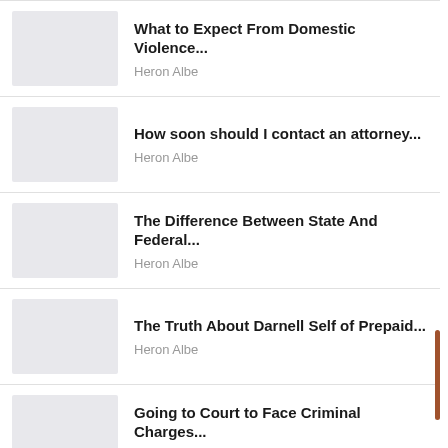What to Expect From Domestic Violence...
Heron Albe
How soon should I contact an attorney...
Heron Albe
The Difference Between State And Federal...
Heron Albe
The Truth About Darnell Self of Prepaid...
Heron Albe
Going to Court to Face Criminal Charges...
Heron Albe